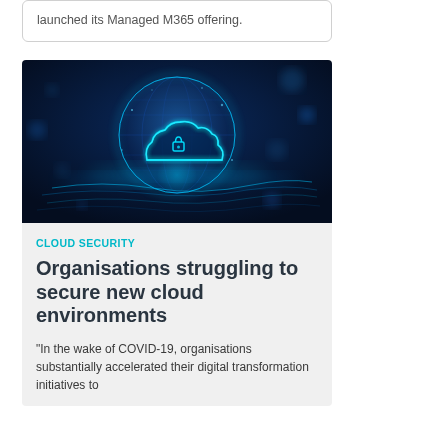launched its Managed M365 offering.
[Figure (photo): Digital cloud with glowing padlock/lock icon floating above a futuristic blue digital globe, representing cloud security concept against a dark blue background.]
CLOUD SECURITY
Organisations struggling to secure new cloud environments
“In the wake of COVID-19, organisations substantially accelerated their digital transformation initiatives to